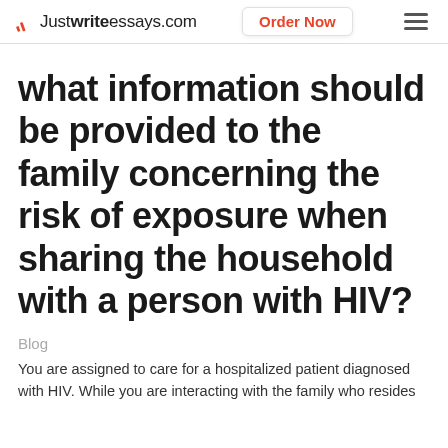Justwriteessays.com | Order Now
what information should be provided to the family concerning the risk of exposure when sharing the household with a person with HIV?
Blog
You are assigned to care for a hospitalized patient diagnosed with HIV. While you are interacting with the family who resides